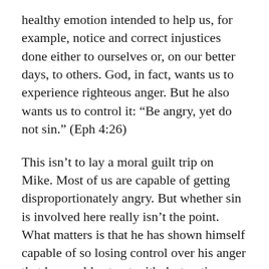healthy emotion intended to help us, for example, notice and correct injustices done either to ourselves or, on our better days, to others. God, in fact, wants us to experience righteous anger. But he also wants us to control it: “Be angry, yet do not sin.” (Eph 4:26)
This isn’t to lay a moral guilt trip on Mike. Most of us are capable of getting disproportionately angry. But whether sin is involved here really isn’t the point. What matters is that he has shown himself capable of so losing control over his anger that he would act out with destructive, physical violence. That is manifestly unhealthy and dangerous behavior that absolutely merits prompt and serious remedial action. The fact that his wife was traumatized by his behavior and now lives with